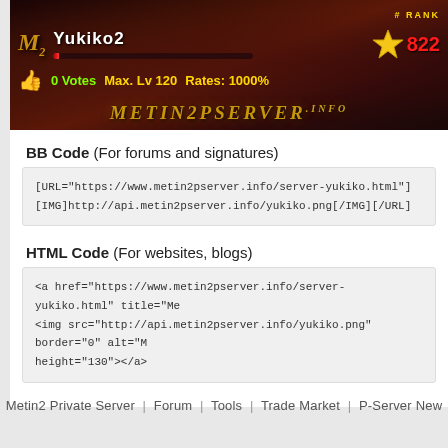[Figure (screenshot): Metin2 private server banner for Yukiko2 server showing server name, rank 822, 0 votes, Max Lv 120, Rates 1000%, and metin2pserver.info branding]
BB Code (For forums and signatures)
[URL="https://www.metin2pserver.info/server-yukiko.html"][IMG]http://api.metin2pserver.info/yukiko.png[/IMG][/URL]
HTML Code (For websites, blogs)
<a href="https://www.metin2pserver.info/server-yukiko.html" title="Me
<img src="http://api.metin2pserver.info/yukiko.png" border="0" alt="M height="130"></a>
Metin2 Private Server  |  Forum  |  Tools  |  Trade Market  |  P-Server New